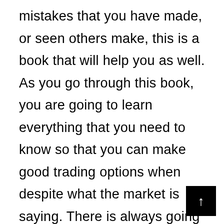mistakes that you have made, or seen others make, this is a book that will help you as well. As you go through this book, you are going to learn everything that you need to know so that you can make good trading options when despite what the market is saying. There is always going to be more that you can learn, and you are going to make mistakes. Do not let that discourage you. Just keep going and make the best investments that you believe are right for you. Real estate is one of the most time tested of all the possible investment opportunities… …having existed practically for as long as humans have built permanent structures and had a concept of land ownership. What's more, it is one of the core